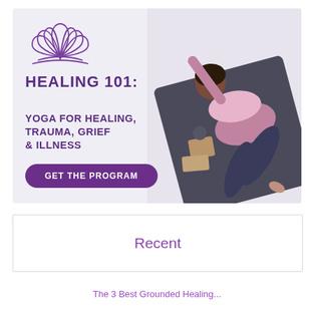[Figure (infographic): Healing 101: Yoga for Healing, Trauma, Grief & Illness promotional banner with lotus flower logo, text, a purple 'GET THE PROGRAM' button, and a photo of a woman doing a yoga stretch on a mat with yoga blocks, on a light background.]
Recent
The 3 Best Grounded Healing...